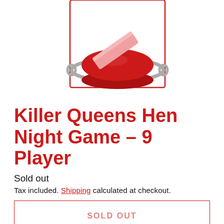[Figure (illustration): Product image showing a red buzzer/button with a metal ring around it, and a diagonal pink/salmon colored stick or card resting on top. The item is inside a thin red-bordered square frame. Background is white.]
Killer Queens Hen Night Game – 9 Player
Sold out
Tax included. Shipping calculated at checkout.
SOLD OUT